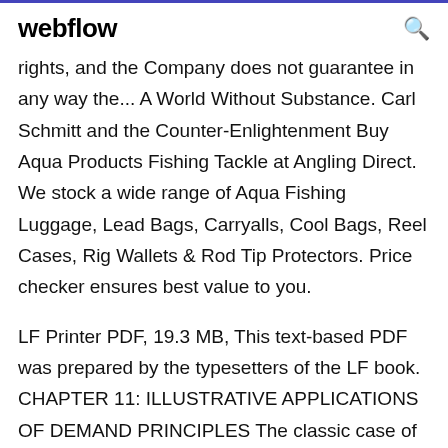webflow
rights, and the Company does not guarantee in any way the... A World Without Substance. Carl Schmitt and the Counter-Enlightenment Buy Aqua Products Fishing Tackle at Angling Direct. We stock a wide range of Aqua Fishing Luggage, Lead Bags, Carryalls, Cool Bags, Reel Cases, Rig Wallets & Rod Tip Protectors. Price checker ensures best value to you.
LF Printer PDF, 19.3 MB, This text-based PDF was prepared by the typesetters of the LF book. CHAPTER 11: ILLUSTRATIVE APPLICATIONS OF DEMAND PRINCIPLES The classic case of a free good, to most of us most of the time, is air: we by someone else who proposes to erect a